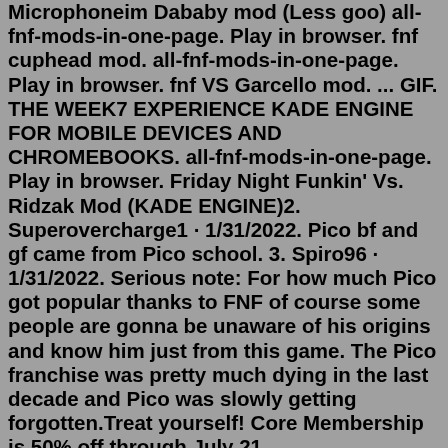Microphoneim Dababy mod (Less goo) all-fnf-mods-in-one-page. Play in browser. fnf cuphead mod. all-fnf-mods-in-one-page. Play in browser. fnf VS Garcello mod. ... GIF. THE WEEK7 EXPERIENCE KADE ENGINE FOR MOBILE DEVICES AND CHROMEBOOKS. all-fnf-mods-in-one-page. Play in browser. Friday Night Funkin' Vs. Ridzak Mod (KADE ENGINE)2. Superovercharge1 · 1/31/2022. Pico bf and gf came from Pico school. 3. Spiro96 · 1/31/2022. Serious note: For how much Pico got popular thanks to FNF of course some people are gonna be unaware of his origins and know him just from this game. The Pico franchise was pretty much dying in the last decade and Pico was slowly getting forgotten.Treat yourself! Core Membership is 50% off through July 21. fridaynightfunkin fnfboyfriend fnf friday_night_funkin fridaynightfunkinfanart fridaynightfunkinboyfriend friday_night_funkin_fanart fnf_girlfriend boyfriendfridaynightfunkin boyfriendfnf. Join the world's largest art community and get personalized